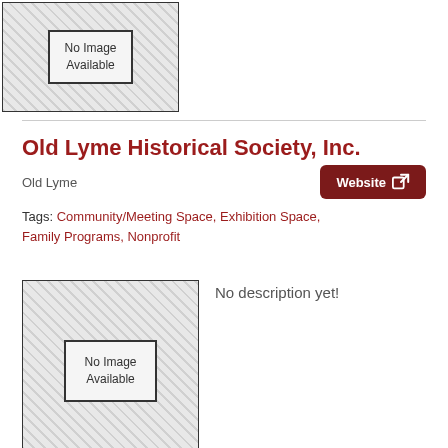[Figure (other): Placeholder image box with diagonal hatching pattern and 'No Image Available' label]
Old Lyme Historical Society, Inc.
Old Lyme
Website
Tags: Community/Meeting Space, Exhibition Space, Family Programs, Nonprofit
[Figure (other): Placeholder image box with diagonal hatching pattern and 'No Image Available' label]
No description yet!